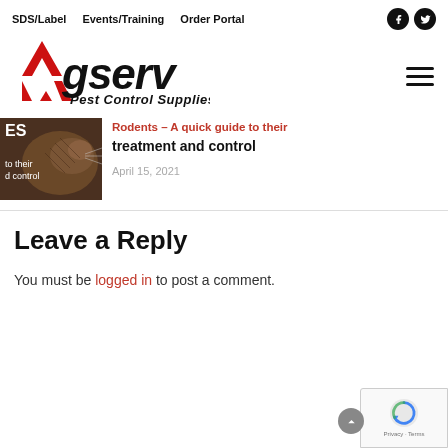SDS/Label  Events/Training  Order Portal
[Figure (logo): Agserv Pest Control Supplies logo with red diamond 'A' shape and bold text]
[Figure (photo): Close-up photo of a rodent, dark brown fur, pest control article thumbnail. Overlay text: 'ES', 'to their', 'd control']
Rodents – A quick guide to their treatment and control
April 15, 2021
Leave a Reply
You must be logged in to post a comment.